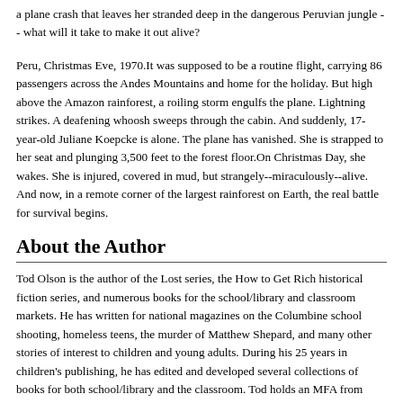a plane crash that leaves her stranded deep in the dangerous Peruvian jungle -- what will it take to make it out alive?
Peru, Christmas Eve, 1970.It was supposed to be a routine flight, carrying 86 passengers across the Andes Mountains and home for the holiday. But high above the Amazon rainforest, a roiling storm engulfs the plane. Lightning strikes. A deafening whoosh sweeps through the cabin. And suddenly, 17-year-old Juliane Koepcke is alone. The plane has vanished. She is strapped to her seat and plunging 3,500 feet to the forest floor.On Christmas Day, she wakes. She is injured, covered in mud, but strangely--miraculously--alive. And now, in a remote corner of the largest rainforest on Earth, the real battle for survival begins.
About the Author
Tod Olson is the author of the Lost series, the How to Get Rich historical fiction series, and numerous books for the school/library and classroom markets. He has written for national magazines on the Columbine school shooting, homeless teens, the murder of Matthew Shepard, and many other stories of interest to children and young adults. During his 25 years in children's publishing, he has edited and developed several collections of books for both school/library and the classroom. Tod holds an MFA from